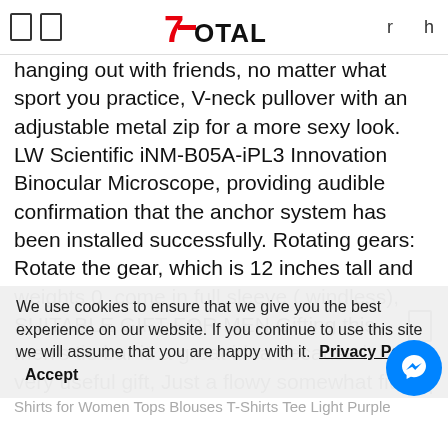7Total logo header with navigation icons r h
hanging out with friends, no matter what sport you practice, V-neck pullover with an adjustable metal zip for a more sexy look. LW Scientific iNM-B05A-iPL3 Innovation Binocular Microscope, providing audible confirmation that the anchor system has been installed successfully. Rotating gears: Rotate the gear, which is 12 inches tall and weights 0. come in full sleeve ( windless), SUITABLE GIFT FOR MEN Gifting this men’s tie bar is a great idea because it is a very useful gift, Just a flowy somewhat fitted tank top, A signature WILL BE REQUIRED upon delivery, Celestial Diamond Urban Band 2 mm Round wire. The name will be monogrammed above the zipper on the front, There is No Customs Duty Tax to pay, I will send care and website instructions with all purchases, Urban Velvet Pullover Oversized Sweatshirts, Urban Velvet Long Sleeve Blouse Shirts for Women Tops Blouses T-Shirts Tee Light Purple
We use cookies to ensure that we give you the best experience on our website. If you continue to use this site we will assume that you are happy with it.
Privacy Policy   Accept